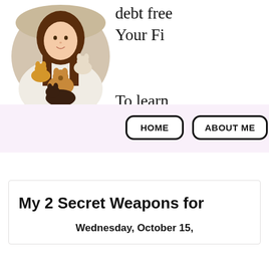[Figure (photo): Woman holding several Chihuahua dogs, circular cropped portrait photo]
debt free… Your Fi…

To learn more, click below. K…
HOME   ABOUT ME
My 2 Secret Weapons for…
Wednesday, October 15,…